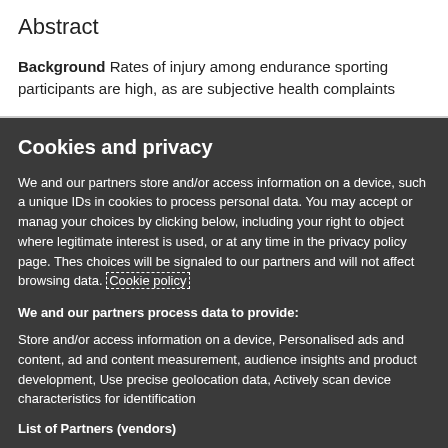Abstract
Background Rates of injury among endurance sporting participants are high, as are subjective health complaints
Cookies and privacy
We and our partners store and/or access information on a device, such as unique IDs in cookies to process personal data. You may accept or manage your choices by clicking below, including your right to object where legitimate interest is used, or at any time in the privacy policy page. These choices will be signaled to our partners and will not affect browsing data. Cookie policy
We and our partners process data to provide:
Store and/or access information on a device, Personalised ads and content, ad and content measurement, audience insights and product development, Use precise geolocation data, Actively scan device characteristics for identification
List of Partners (vendors)